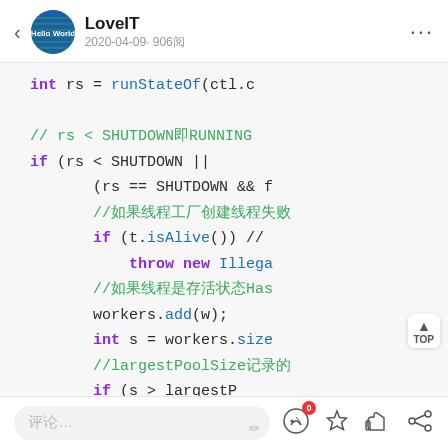LoveIT — 2020-04-09 906
[Figure (screenshot): Code snippet showing Java ThreadPoolExecutor source code with syntax highlighting. Code includes: int rs = runStateOf(ctl.c), comment about rs < SHUTDOWN meaning RUNNING, if statement checking rs < SHUTDOWN || (rs == SHUTDOWN && f), nested comment, if (t.isAlive()) //, throw new Illega, comment about Has, workers.add(w);, int s = workers.size, comment about largestPoolSize, if (s > largest', largestPoolSize]
Input box with icons for chat, star, like, share